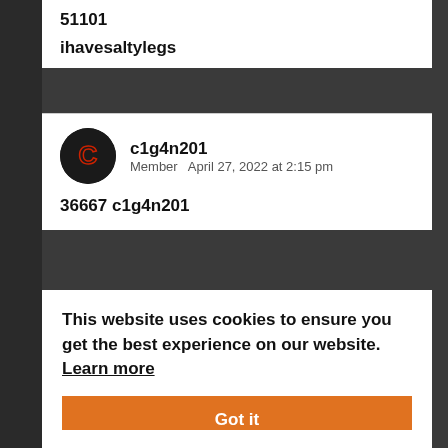51101
ihavesaltylegs
c1g4n201
Member   April 27, 2022 at 2:15 pm
36667 c1g4n201
This website uses cookies to ensure you get the best experience on our website. Learn more
Got it